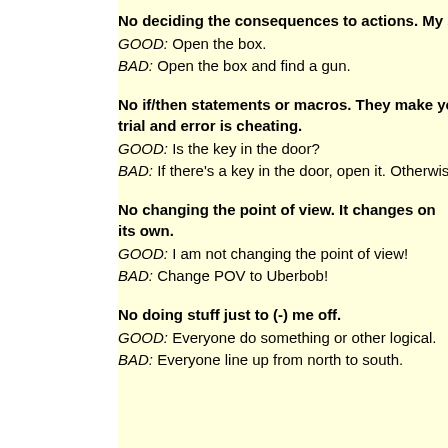No deciding the consequences to actions. My story. Not y
GOOD: Open the box.
BAD: Open the box and find a gun.
No if/then statements or macros. They make you miss imp trial and error is cheating.
GOOD: Is the key in the door?
BAD: If there's a key in the door, open it. Otherwise, find a key
No changing the point of view. It changes on its own.
GOOD: I am not changing the point of view!
BAD: Change POV to Uberbob!
No doing stuff just to (-) me off.
GOOD: Everyone do something or other logical.
BAD: Everyone line up from north to south.
WHERE WE LEFT OFF